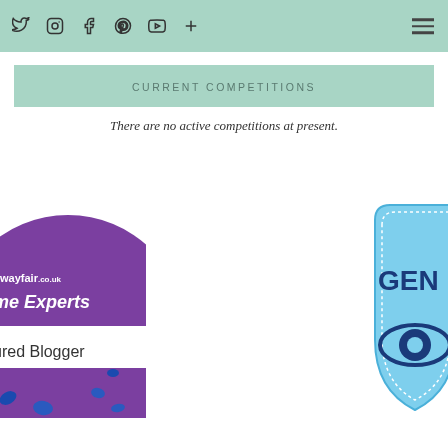Social media icons: Twitter, Instagram, Facebook, Pinterest, YouTube, Plus; Hamburger menu
CURRENT COMPETITIONS
There are no active competitions at present.
[Figure (illustration): Wayfair.co.uk Home Experts Featured Blogger circular badge in purple with blue paint splashes]
[Figure (illustration): GEN... badge/shield in light blue with dark blue logo, partially visible on right edge]